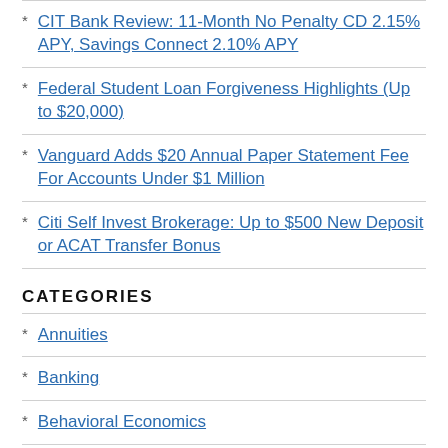CIT Bank Review: 11-Month No Penalty CD 2.15% APY, Savings Connect 2.10% APY
Federal Student Loan Forgiveness Highlights (Up to $20,000)
Vanguard Adds $20 Annual Paper Statement Fee For Accounts Under $1 Million
Citi Self Invest Brokerage: Up to $500 New Deposit or ACAT Transfer Bonus
CATEGORIES
Annuities
Banking
Behavioral Economics
Best of MMB